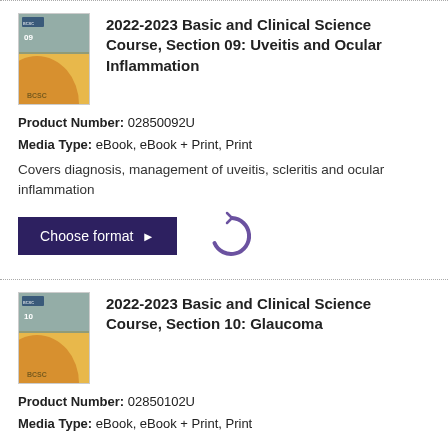[Figure (illustration): Book cover for 2022-2023 Basic and Clinical Science Course Section 09: Uveitis and Ocular Inflammation, yellow and orange design with BCSC branding]
2022-2023 Basic and Clinical Science Course, Section 09: Uveitis and Ocular Inflammation
Product Number: 02850092U
Media Type: eBook, eBook + Print, Print
Covers diagnosis, management of uveitis, scleritis and ocular inflammation
[Figure (illustration): Book cover for 2022-2023 Basic and Clinical Science Course Section 10: Glaucoma, yellow and orange design with BCSC branding]
2022-2023 Basic and Clinical Science Course, Section 10: Glaucoma
Product Number: 02850102U
Media Type: eBook, eBook + Print, Print